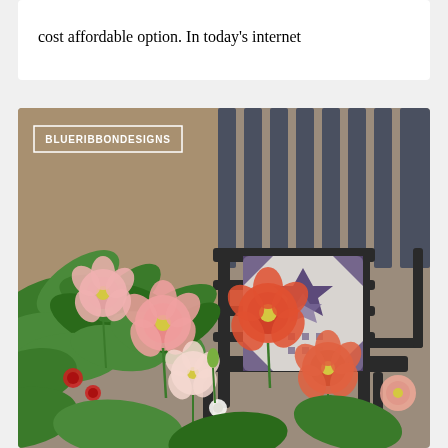cost affordable option. In today's internet
[Figure (photo): Outdoor porch scene with colorful poppy flowers (pink, coral, red, white) and green leafy plants in the foreground. In the background, a dark metal rocking chair with a purple and white geometric star-pattern quilt pillow, set against a wooden wall with vertical slat fencing.]